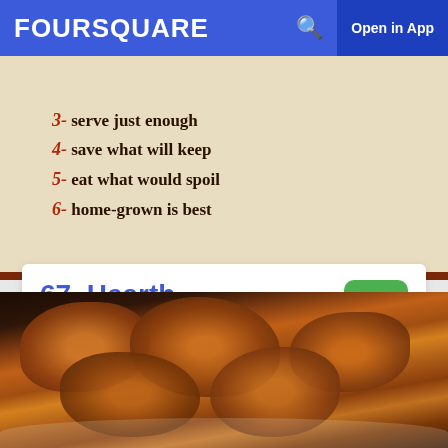FOURSQUARE  Open in App
[Figure (photo): Photo of a handwritten or printed sign with numbered rules. Visible lines: 3- serve just enough, 4- save what will keep, 5- eat what would spoil, 6- home-grown is best]
67. Hearth
403 E 12th St (at 1st Ave), New York, NY
Italian Restaurant · East Village · 210 tips and reviews
[Figure (photo): Close-up photo of fried chicken pieces on a white plate, golden-brown crispy coating visible]